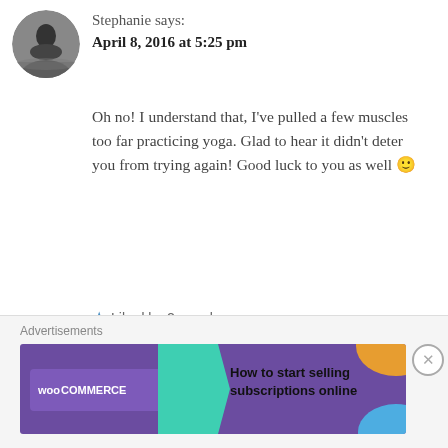[Figure (photo): Circular avatar photo showing a silhouette of a person on water, black and white.]
Stephanie says:
April 8, 2016 at 5:25 pm
Oh no! I understand that, I've pulled a few muscles too far practicing yoga. Glad to hear it didn't deter you from trying again! Good luck to you as well 🙂
★ Liked by 2 people
Reply
Leave a Reply
[Figure (screenshot): WooCommerce advertisement banner: purple background with WooCommerce logo, green arrow, text 'How to start selling subscriptions online', orange and blue decorative blobs.]